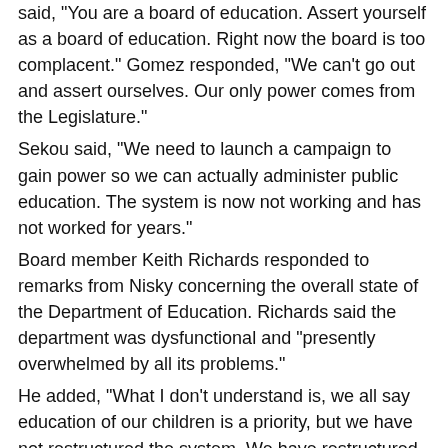said, "You are a board of education. Assert yourself as a board of education. Right now the board is too complacent." Gomez responded, "We can't go out and assert ourselves. Our only power comes from the Legislature."
Sekou said, "We need to launch a campaign to gain power so we can actually administer public education. The system is now not working and has not worked for years."
Board member Keith Richards responded to remarks from Nisky concerning the overall state of the Department of Education. Richards said the department was dysfunctional and "presently overwhelmed by all its problems."
He added, "What I don't understand is, we all say education of our children is a priority, but we have not restructured the system. We have restructured other departments in the government."
Back Talk
Share your reaction to this news with other Source readers.